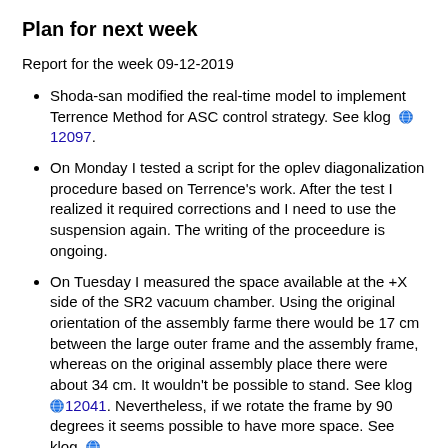Plan for next week
Report for the week 09-12-2019
Shoda-san modified the real-time model to implement Terrence Method for ASC control strategy. See klog 12097.
On Monday I tested a script for the oplev diagonalization procedure based on Terrence's work. After the test I realized it required corrections and I need to use the suspension again. The writing of the proceedure is ongoing.
On Tuesday I measured the space available at the +X side of the SR2 vacuum chamber. Using the original orientation of the assembly farme there would be 17 cm between the large outer frame and the assembly frame, whereas on the original assembly place there were about 34 cm. It wouldn't be possible to stand. See klog 12041. Nevertheless, if we rotate the frame by 90 degrees it seems possible to have more space. See klog 12065.
In the context of SRM bottom filter repairs, I checked whether the SR chambers have access